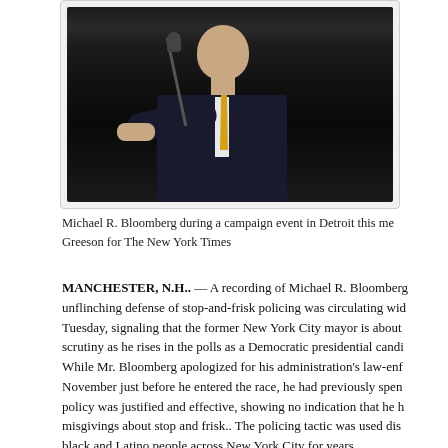[Figure (photo): Michael R. Bloomberg speaking at a campaign event, shown at a podium with a microphone, wearing a dark suit and yellow tie, photographed from the side in low-key lighting]
Michael R. Bloomberg during a campaign event in Detroit this me... Greeson for The New York Times
MANCHESTER, N.H.. — A recording of Michael R. Bloomberg... unflinching defense of stop-and-frisk policing was circulating wid... Tuesday, signaling that the former New York City mayor is about... scrutiny as he rises in the polls as a Democratic presidential candi... While Mr. Bloomberg apologized for his administration's law-enf... November just before he entered the race, he had previously spen... policy was justified and effective, showing no indication that he h... misgivings about stop and frisk.. The policing tactic was used dis... black and Latino people across New York City for years.
He offered a particularly blunt defense at the Aspen Institute in 20... Times reported then that Mr. Bloomberg said that crimes were co...